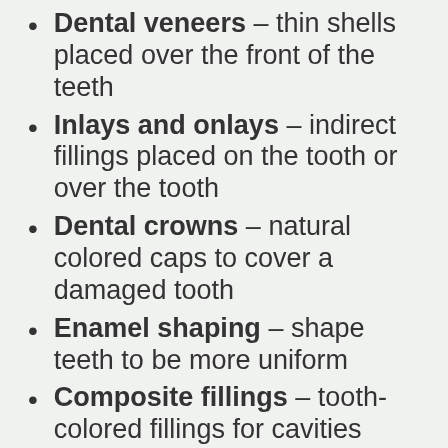Dental veneers – thin shells placed over the front of the teeth
Inlays and onlays – indirect fillings placed on the tooth or over the tooth
Dental crowns – natural colored caps to cover a damaged tooth
Enamel shaping – shape teeth to be more uniform
Composite fillings – tooth-colored fillings for cavities
Cosmetic orthodontic treatments (braces or alignment options)
Dental bridges – replace one or a few missing teeth in a series
…